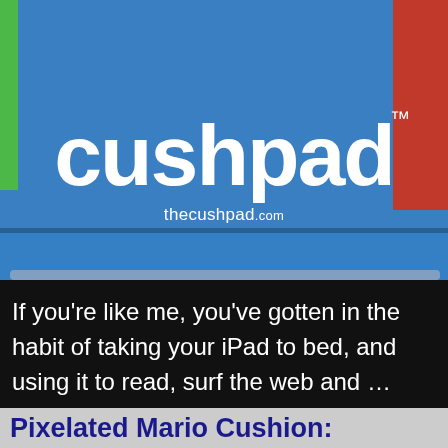[Figure (photo): Photo of a blue cushpad product with white 'cushpad' logo text and 'thecushpad.com' URL printed on it. Green and red cushions visible at edges.]
If you're like me, you've gotten in the habit of taking your iPad to bed, and using it to read, surf the web and …
Read >
Pixelated Mario Cushion: